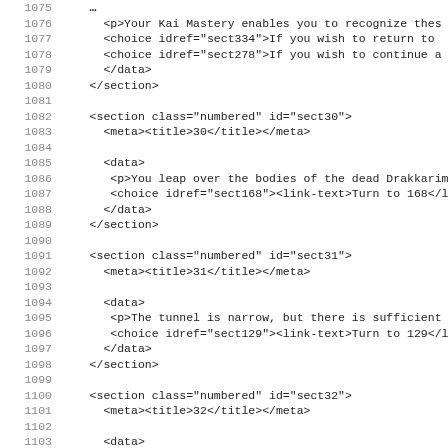Source code listing lines 1075-1107 showing XML markup for a gamebook/interactive fiction file with sections sect30, sect31, sect32 and associated data, choices, and illustrations.